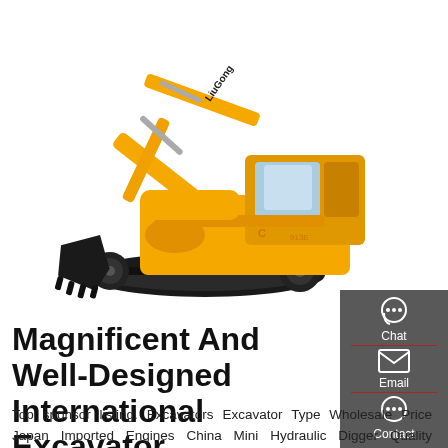[Figure (photo): Yellow LiuGong excavator/crawler excavator on white background, brand name visible on boom arm]
Magnificent And Well-Designed International Excavator
Top sponsor listing. Excavators Excavator Type Wholesale Price Japan Imported Engines China Mini Hydraulic Digger Quality Excavators For Sale. Up to
[Figure (infographic): Dark grey sidebar panel with Chat, Email, and Contact icons and labels, separated by red horizontal lines]